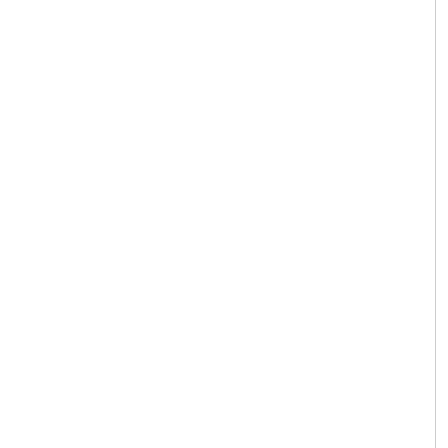Basic
Coeur d'Alene MSA, ID
Wall Map
Great for businesses.
Basic map detail.
Good for showing data.
Select
Premium
Coeur d'A
Wall Ma
Attractive
Referend
Great on
Sele
[Figure (screenshot): Basic Coeur d'Alene MSA, ID Digital Map shown on monitor and tablet devices]
[Figure (screenshot): Premium Coeur d'Alene MSA, ID Digital Map shown on monitor (partially visible)]
Basic
Coeur d'Alene MSA, ID
Digital Map
Premium
Coeur d'A
Digita